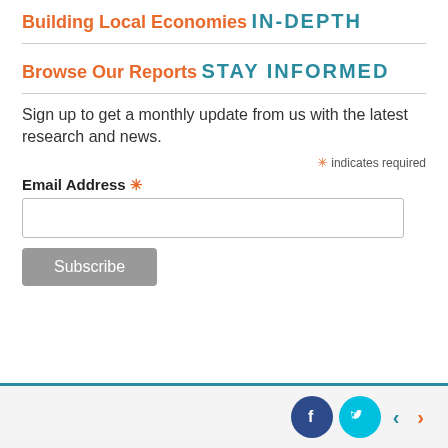Building Local Economies
IN-DEPTH
Browse Our Reports
STAY INFORMED
Sign up to get a monthly update from us with the latest research and news.
* indicates required
Email Address *
[Figure (screenshot): Email address input field (empty text box)]
[Figure (screenshot): Subscribe button (gray rounded button)]
Footer with Facebook and Twitter social icons and navigation arrows